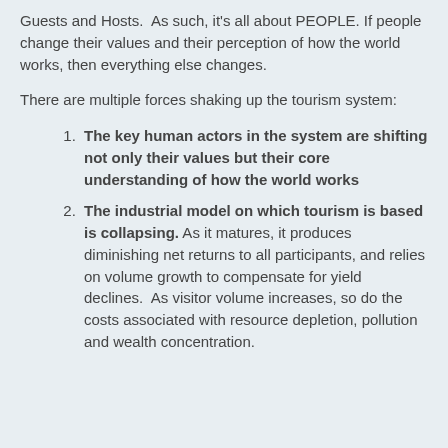Guests and Hosts. As such, it's all about PEOPLE. If people change their values and their perception of how the world works, then everything else changes.
There are multiple forces shaking up the tourism system:
The key human actors in the system are shifting not only their values but their core understanding of how the world works
The industrial model on which tourism is based is collapsing. As it matures, it produces diminishing net returns to all participants, and relies on volume growth to compensate for yield declines. As visitor volume increases, so do the costs associated with resource depletion, pollution and wealth concentration.